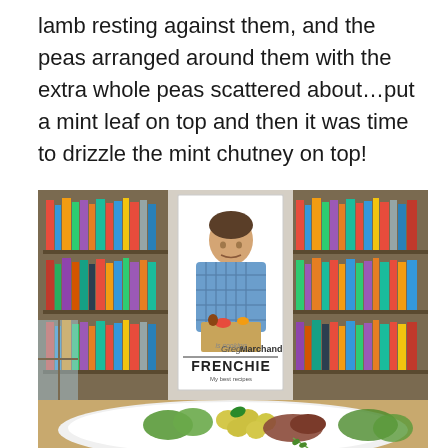lamb resting against them, and the peas arranged around them with the extra whole peas scattered about…put a mint leaf on top and then it was time to drizzle the mint chutney on top!
[Figure (photo): A photo of a cookbook titled 'Frenchie' by Greg Marchand propped on a dining table in front of bookshelves, with a white plate in the foreground containing a dish of lamb with peas and greens.]